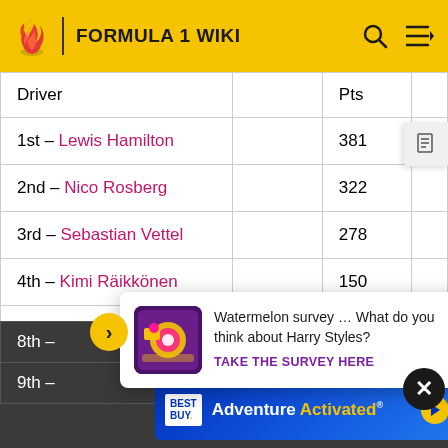FORMULA 1 WIKI
| Driver |  | Pts |
| --- | --- | --- |
| 1st – Lewis Hamilton |  | 381 |
| 2nd – Nico Rosberg |  | 322 |
| 3rd – Sebastian Vettel |  | 278 |
| 4th – Kimi Räikkönen |  | 150 |
| 5th – |  |  |
| 6th – |  |  |
| 7th – |  |  |
| 8th – |  |  |
| 9th – |  |  |
[Figure (infographic): Ad popup: Watermelon survey about Harry Styles with thumbnail image and TAKE THE SURVEY HERE link]
[Figure (infographic): Best Buy Adventure Activated banner advertisement]